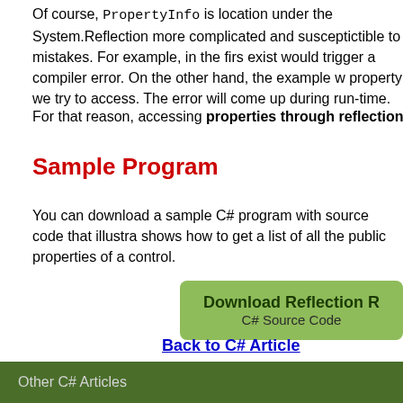Of course, PropertyInfo is location under the System.Reflection more complicated and susceptictible to mistakes. For example, in the first exist would trigger a compiler error. On the other hand, the example w property we try to access. The error will come up during run-time.
For that reason, accessing properties through reflection must be do
Sample Program
You can download a sample C# program with source code that illustra shows how to get a list of all the public properties of a control.
[Figure (other): Download Reflection button - green rounded rectangle with text 'Download Reflection' and 'C# Source Code']
Back to C# Article
Other C# Articles